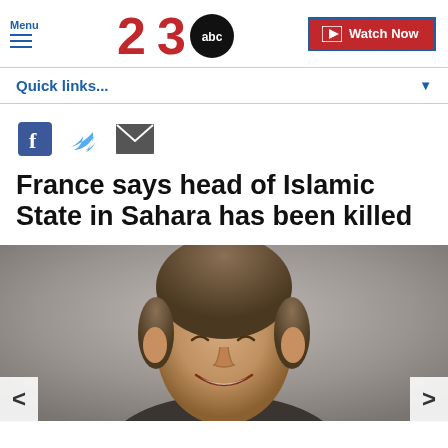Menu | 23 ABC | Watch Now
Quick links...
[Figure (illustration): Social sharing icons: Facebook, Twitter, Email]
France says head of Islamic State in Sahara has been killed
[Figure (photo): Close-up photo of a smiling man (Emmanuel Macron) with navigation arrows on left and right sides of the image]